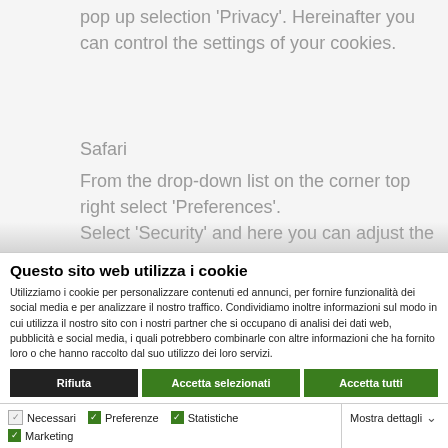pop up selection 'Privacy'. Hereinafter you can control the settings of your cookies.
Safari
From the drop-down list on the corner top right select 'Preferences'. Select 'Security' and here you can adjust the settings of your cookies.
Questo sito web utilizza i cookie
Utilizziamo i cookie per personalizzare contenuti ed annunci, per fornire funzionalità dei social media e per analizzare il nostro traffico. Condividiamo inoltre informazioni sul modo in cui utilizza il nostro sito con i nostri partner che si occupano di analisi dei dati web, pubblicità e social media, i quali potrebbero combinarle con altre informazioni che ha fornito loro o che hanno raccolto dal suo utilizzo dei loro servizi.
Rifiuta
Accetta selezionati
Accetta tutti
Necessari  Preferenze  Statistiche  Marketing  Mostra dettagli